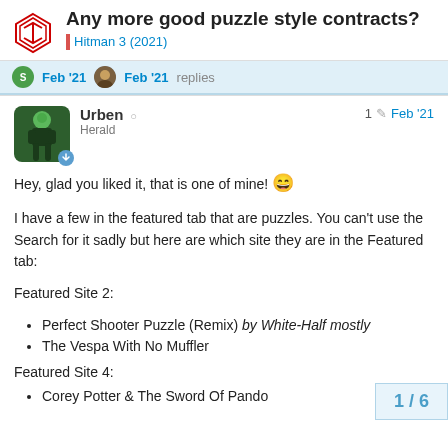Any more good puzzle style contracts? | Hitman 3 (2021)
Feb '21  Feb '21  replies
Urben  Herald  1  Feb '21
Hey, glad you liked it, that is one of mine! 😄
I have a few in the featured tab that are puzzles. You can't use the Search for it sadly but here are which site they are in the Featured tab:
Featured Site 2:
Perfect Shooter Puzzle (Remix) by White-Half mostly
The Vespa With No Muffler
Featured Site 4:
Corey Potter & The Sword Of Pando
1 / 6